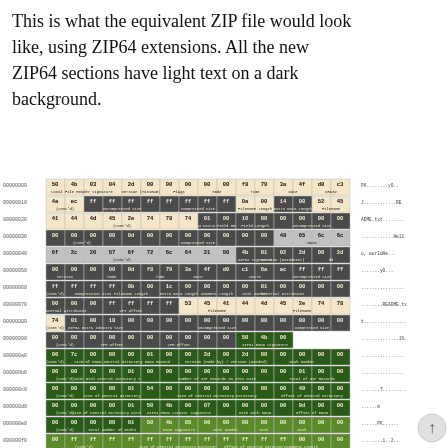This is what the equivalent ZIP file would look like, using ZIP64 extensions. All the new ZIP64 sections have light text on a dark background.
[Figure (table-as-image): Hex dump table showing ZIP64 file format structure with colored sections indicating different parts: local file headers, data, ZIP64 extra fields, central directory, ZIP64 end of central directory, and end of central directory records. Dark-background cells represent new ZIP64 sections.]